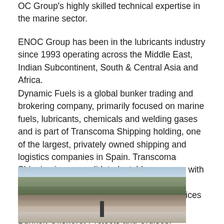OC Group's highly skilled technical expertise in the marine sector.
ENOC Group has been in the lubricants industry since 1993 operating across the Middle East, Indian Subcontinent, South & Central Asia and Africa.
Dynamic Fuels is a global bunker trading and brokering company, primarily focused on marine fuels, lubricants, chemicals and welding gases and is part of Transcoma Shipping holding, one of the largest, privately owned shipping and logistics companies in Spain. Transcoma Shipping is a consolidated, stable company with over 200 years' experience in the shipping sector, offering a wide range of related services in the maritime area, such as Liner, Tramp, Bunker, Offshore, Projects and Cruises.
[Figure (photo): Photograph of a mountainous coastal landscape with a lighthouse silhouette in the foreground, mountain ridges in the background under a partly cloudy sky.]